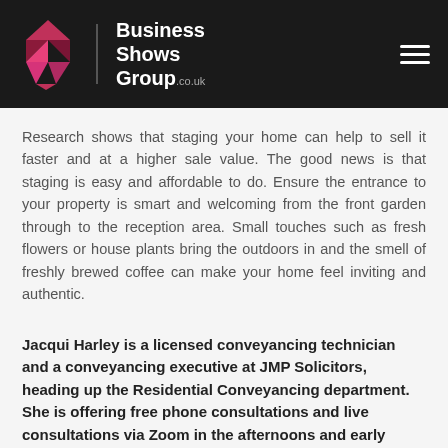Business Shows Group.co.uk
Research shows that staging your home can help to sell it faster and at a higher sale value. The good news is that staging is easy and affordable to do. Ensure the entrance to your property is smart and welcoming from the front garden through to the reception area. Small touches such as fresh flowers or house plants bring the outdoors in and the smell of freshly brewed coffee can make your home feel inviting and authentic.
Jacqui Harley is a licensed conveyancing technician and a conveyancing executive at JMP Solicitors, heading up the Residential Conveyancing department. She is offering free phone consultations and live consultations via Zoom in the afternoons and early evenings.
[Figure (other): Pink circular scroll-up button with upward chevron arrow]
For further information please call or email us at 0800 080 0066